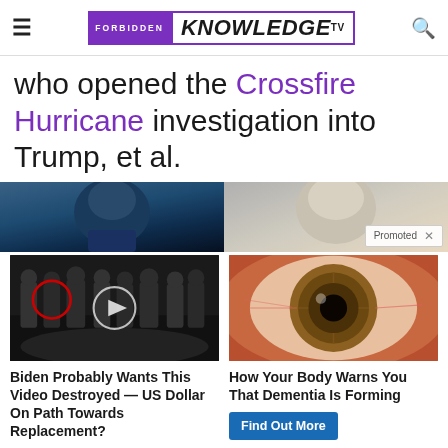FORBIDDEN KNOWLEDGE TV
who opened the Crossfire Hurricane investigation into Trump, et al.
[Figure (photo): Two photos side by side: left shows a man's face in dark blue tones, right shows a person's head in grey tones with a 'Promoted X' badge]
[Figure (photo): CIA headquarters group photo with red circle highlighting a figure and a video play button overlay]
Biden Probably Wants This Video Destroyed — US Dollar On Path Towards Replacement?
Watch The Video
[Figure (photo): Close-up extreme macro photo of a human eye with detailed iris]
How Your Body Warns You That Dementia Is Forming
Find Out More